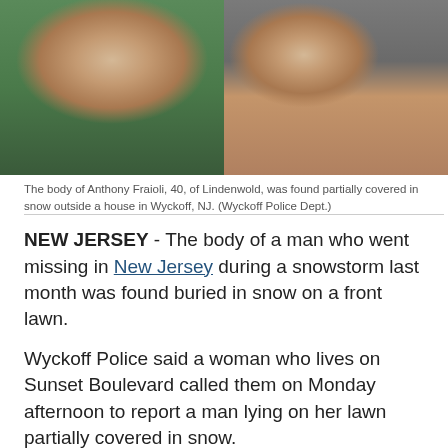[Figure (photo): Two side-by-side photos of Anthony Fraioli. Left photo shows a man in a green shirt, close-up face view. Right photo shows a man in a gray shirt holding something orange/brown.]
The body of Anthony Fraioli, 40, of Lindenwold, was found partially covered in snow outside a house in Wyckoff, NJ. (Wyckoff Police Dept.)
NEW JERSEY - The body of a man who went missing in New Jersey during a snowstorm last month was found buried in snow on a front lawn.
Wyckoff Police said a woman who lives on Sunset Boulevard called them on Monday afternoon to report a man lying on her lawn partially covered in snow.
The man was identified as Andrew Fraioli, 40, of Lindenwold. He had left his parents' house in Wyckoff on Feb. 1 as a storm dumped over 20 inches of snow on